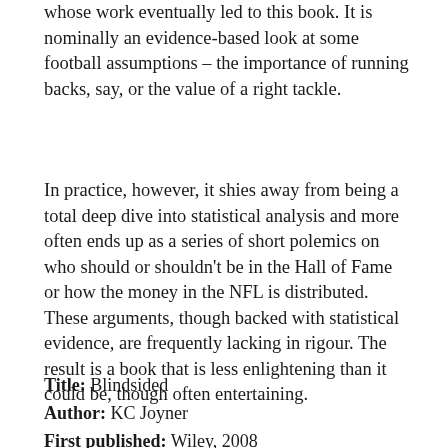whose work eventually led to this book. It is nominally an evidence-based look at some football assumptions – the importance of running backs, say, or the value of a right tackle.
In practice, however, it shies away from being a total deep dive into statistical analysis and more often ends up as a series of short polemics on who should or shouldn't be in the Hall of Fame or how the money in the NFL is distributed. These arguments, though backed with statistical evidence, are frequently lacking in rigour. The result is a book that is less enlightening than it could be, though often entertaining.
Title: Blindsided
Author: KC Joyner
First published: Wiley, 2008